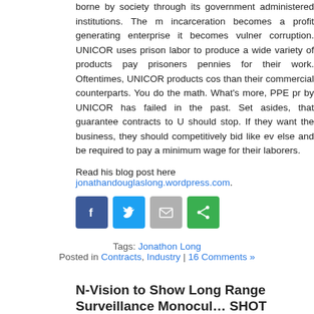borne by society through its government administered institutions. The moment incarceration becomes a profit generating enterprise it becomes vulnerable to corruption. UNICOR uses prison labor to produce a wide variety of products and pay prisoners pennies for their work. Oftentimes, UNICOR products cost more than their commercial counterparts. You do the math. What's more, PPE produced by UNICOR has failed in the past. Set asides, that guarantee contracts to UNICOR should stop. If they want the business, they should competitively bid like everyone else and be required to pay a minimum wage for their laborers.
Read his blog post here jonathandouglaslong.wordpress.com.
[Figure (infographic): Four social media sharing icons: Facebook (blue), Twitter (light blue), Email (gray), Share (green)]
Tags: Jonathon Long
Posted in Contracts, Industry | 16 Comments »
N-Vision to Show Long Range Surveillance Monoculars at SHOT
Friday, December 30th, 2011
N-Vision Optics LRS Long Range Surveillance Monocular